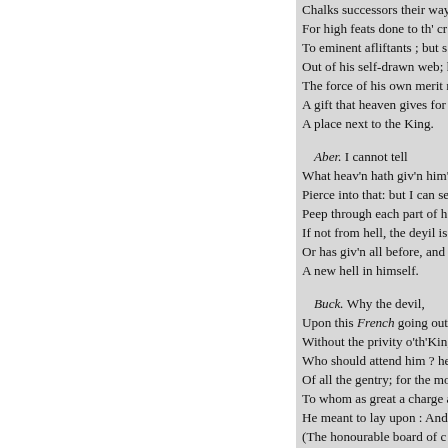Chalks successors their way
For high feats done to th' cr
To eminent afliftants ; but s
Out of his self-drawn web; h
The force of his own merit m
A gift that heaven gives for
A place next to the King.

Aber. I cannot tell
What heav'n hath giv'n him
Pierce into that: but I can se
Peep through each part of h
If not from hell, the deyil is
Or has giv'n all before, and
A new hell in himself.

Buck. Why the devil,
Upon this French going out
Without the privity o'th'Kin
Who should attend him ? he
Of all the gentry; for the mo
To whom as great a charge a
He meant to lay upon : And
(The honourable board of c